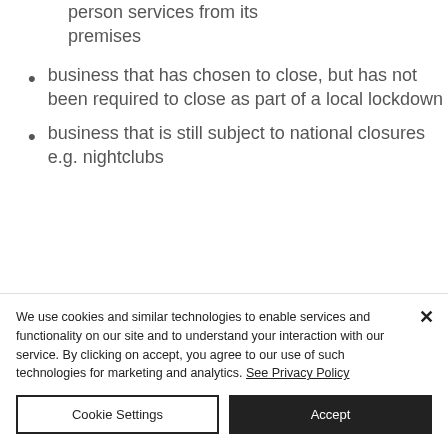person services from its premises
business that has chosen to close, but has not been required to close as part of a local lockdown
business that is still subject to national closures e.g. nightclubs
We use cookies and similar technologies to enable services and functionality on our site and to understand your interaction with our service. By clicking on accept, you agree to our use of such technologies for marketing and analytics. See Privacy Policy